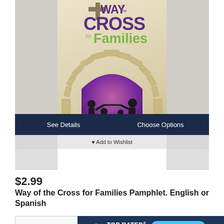[Figure (photo): Book cover of 'Way of the Cross for Families Pamphlet' with a cross, arch, and family silhouette illustration on a tan/beige background. Overlaid with 'See Details' and 'Choose Options' buttons on a dark navy bar, and an 'Add to Wishlist' link.]
$2.99
Way of the Cross for Families Pamphlet. English or Spanish
[Figure (infographic): Top Rated Local banner with close button, bird logo, 'TOP RATED LOCAL' text, and '99 Rating Score™' badge in blue.]